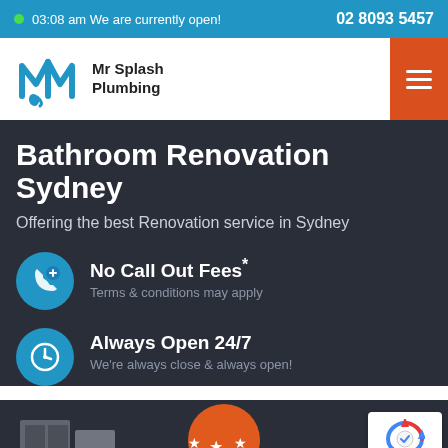03:08 am We are currently open!  02 8093 5457
[Figure (logo): Mr Splash Plumbing logo with stylized blue M and wrench]
Bathroom Renovation Sydney
Offering the best Renovation service in Sydney
No Call Out Fees* — Terms & conditions may apply
Always Open 24/7 — We're always close & always open!
[Figure (illustration): Bottom decorative area with orange star badge and grey bathroom fixtures]
[Figure (other): reCAPTCHA badge — Privacy · Terms]